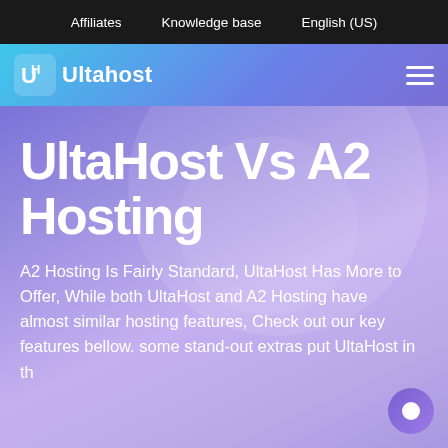Affiliates   Knowledge base   English (US)
[Figure (logo): UltaHost logo with UH icon and wordmark in white on gradient blue header bar]
UltaHost Vs A2 Hosting
A2 Hosting Is Fairly Standard, UltaHost Has More to Offer, While both UltaHost and A2 Hosting have almost similar hosting features, Check out our key features bellow. some stand-out extras put UltaHost in th...